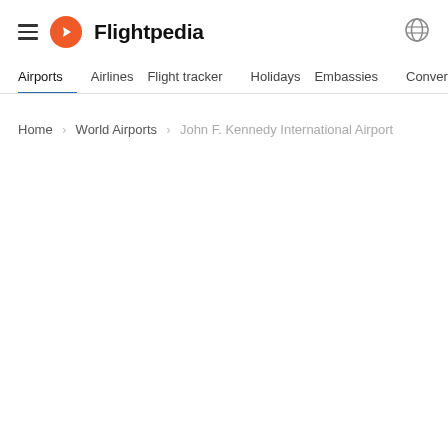Flightpedia
Airports  Airlines  Flight tracker  Holidays  Embassies  Converters  C
Home > World Airports > John F. Kennedy International Airport